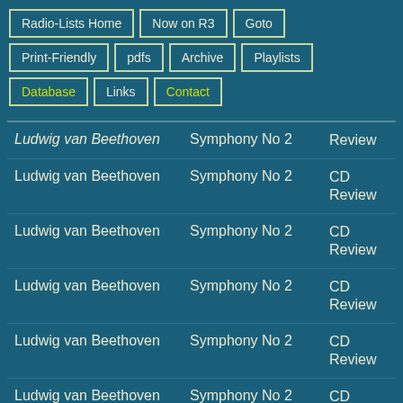Radio-Lists Home
Now on R3
Goto
Print-Friendly
pdfs
Archive
Playlists
Database
Links
Contact
| Composer | Work | Type |
| --- | --- | --- |
| Ludwig van Beethoven | Symphony No 2 | Review |
| Ludwig van Beethoven | Symphony No 2 | CD Review |
| Ludwig van Beethoven | Symphony No 2 | CD Review |
| Ludwig van Beethoven | Symphony No 2 | CD Review |
| Ludwig van Beethoven | Symphony No 2 | CD Review |
| Ludwig van Beethoven | Symphony No 2 | CD Review |